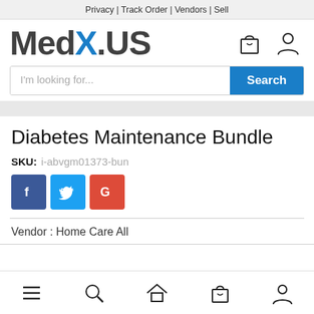Privacy | Track Order | Vendors | Sell
[Figure (logo): MedX.US logo with shopping bag and user account icons]
I'm looking for...  Search
Diabetes Maintenance Bundle
SKU: i-abvgm01373-bun
[Figure (infographic): Social share buttons: Facebook (f), Twitter (bird), Google+ (G)]
Vendor : Home Care All
Bottom navigation bar with menu, search, home, cart, and user icons